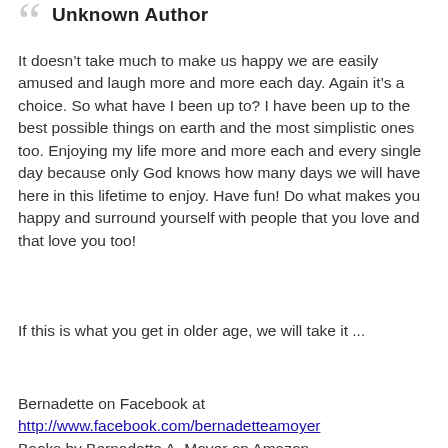Unknown Author
It doesn’t take much to make us happy we are easily amused and laugh more and more each day. Again it’s a choice. So what have I been up to? I have been up to the best possible things on earth and the most simplistic ones too. Enjoying my life more and more each and every single day because only God knows how many days we will have here in this lifetime to enjoy. Have fun! Do what makes you happy and surround yourself with people that you love and that love you too!
If this is what you get in older age, we will take it ...
Bernadette on Facebook at http://www.facebook.com/bernadetteamoyer Books by Bernadette A. Moyer on Amazon